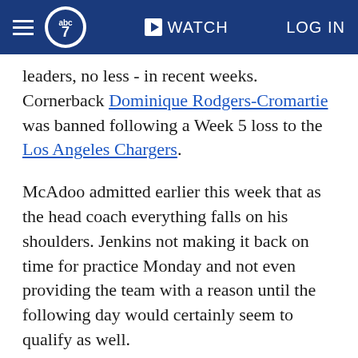ABC7 | WATCH | LOG IN
leaders, no less - in recent weeks. Cornerback Dominique Rodgers-Cromartie was banned following a Week 5 loss to the Los Angeles Chargers.
McAdoo admitted earlier this week that as the head coach everything falls on his shoulders. Jenkins not making it back on time for practice Monday and not even providing the team with a reason until the following day would certainly seem to qualify as well.